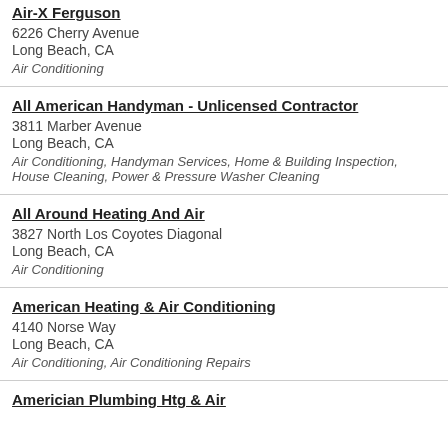Air-X Ferguson
6226 Cherry Avenue
Long Beach, CA
Air Conditioning
All American Handyman - Unlicensed Contractor
3811 Marber Avenue
Long Beach, CA
Air Conditioning, Handyman Services, Home & Building Inspection, House Cleaning, Power & Pressure Washer Cleaning
All Around Heating And Air
3827 North Los Coyotes Diagonal
Long Beach, CA
Air Conditioning
American Heating & Air Conditioning
4140 Norse Way
Long Beach, CA
Air Conditioning, Air Conditioning Repairs
Americian Plumbing Htg & Air